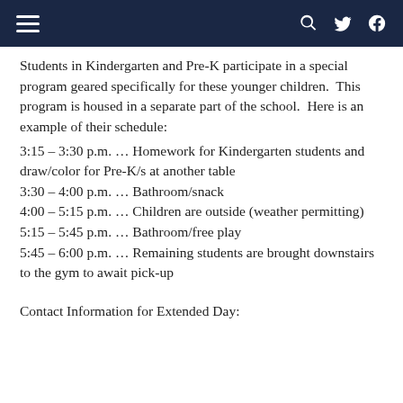≡  🔍 🐦 f
Students in Kindergarten and Pre-K participate in a special program geared specifically for these younger children.  This program is housed in a separate part of the school.  Here is an example of their schedule:
3:15 – 3:30 p.m. … Homework for Kindergarten students and draw/color for Pre-K/s at another table
3:30 – 4:00 p.m. … Bathroom/snack
4:00 – 5:15 p.m. … Children are outside (weather permitting)
5:15 – 5:45 p.m. … Bathroom/free play
5:45 – 6:00 p.m. … Remaining students are brought downstairs to the gym to await pick-up
Contact Information for Extended Day: